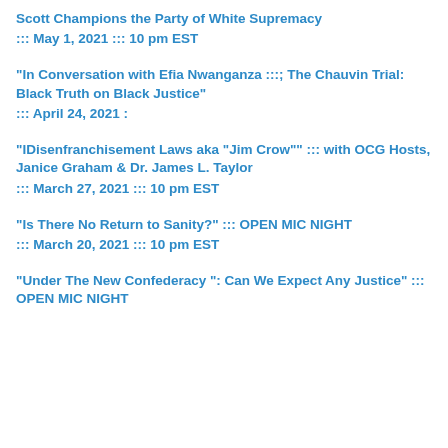Scott Champions the Party of White Supremacy
::: May 1, 2021 ::: 10 pm EST
"In Conversation with Efia Nwanganza :::; The Chauvin Trial: Black Truth on Black Justice"
::: April 24, 2021 :
"IDisenfranchisement Laws aka "Jim Crow"" ::: with OCG Hosts, Janice Graham & Dr. James L. Taylor
::: March 27, 2021 ::: 10 pm EST
"Is There No Return to Sanity?" ::: OPEN MIC NIGHT
::: March 20, 2021 ::: 10 pm EST
"Under The New Confederacy ": Can We Expect Any Justice" ::: OPEN MIC NIGHT